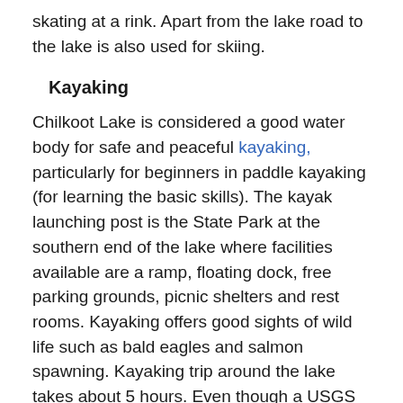skating at a rink. Apart from the lake road to the lake is also used for skiing.
Kayaking
Chilkoot Lake is considered a good water body for safe and peaceful kayaking, particularly for beginners in paddle kayaking (for learning the basic skills). The kayak launching post is the State Park at the southern end of the lake where facilities available are a ramp, floating dock, free parking grounds, picnic shelters and rest rooms. Kayaking offers good sights of wild life such as bald eagles and salmon spawning. Kayaking trip around the lake takes about 5 hours. Even though a USGS map is available as guide for kayakers, the small lake does not require any help of a map for navigation. The main security precaution to be observed by kayakers is not disturb the bears, which may be seen hunting for fish on